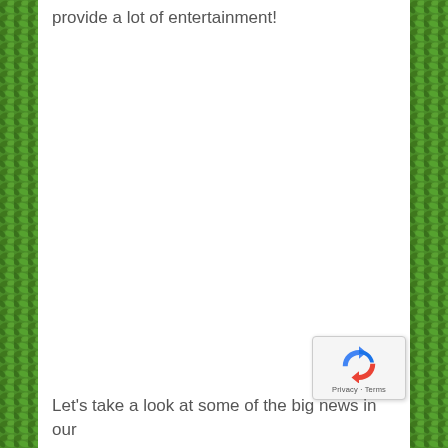provide a lot of entertainment!
[Figure (other): reCAPTCHA privacy badge with rotating arrows logo, showing 'Privacy - Terms' text]
Let's take a look at some of the big news in our